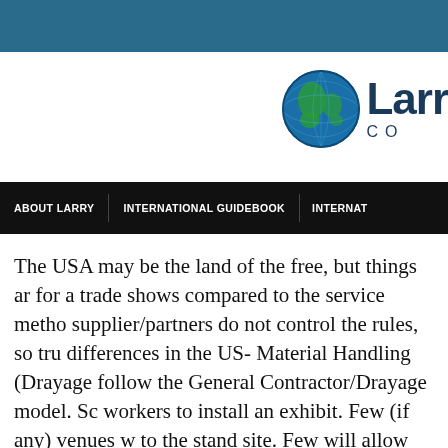[Figure (logo): Globe icon and company name 'Larr' with 'CO' text — partial logo visible on right side of header area]
ABOUT LARRY   INTERNATIONAL GUIDEBOOK   INTERNAT
The USA may be the land of the free, but things ar... for a trade shows compared to the service metho... supplier/partners do not control the rules, so tru... differences in the US- Material Handling (Drayage... follow the General Contractor/Drayage model. Sc... workers to install an exhibit. Few (if any) venues w... to the stand site. Few will allow you to vacuum you...
This concept holds true for electric services and la...